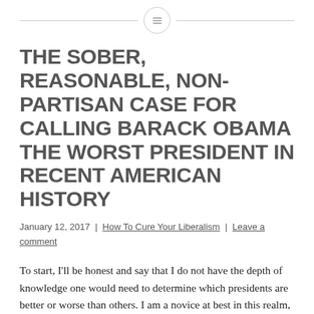≡
THE SOBER, REASONABLE, NON-PARTISAN CASE FOR CALLING BARACK OBAMA THE WORST PRESIDENT IN RECENT AMERICAN HISTORY
January 12, 2017  |  How To Cure Your Liberalism  |  Leave a comment
To start, I'll be honest and say that I do not have the depth of knowledge one would need to determine which presidents are better or worse than others. I am a novice at best in this realm, and the following assertions and opinions should be taken with a grain of salt. I'm a layman of presidential history